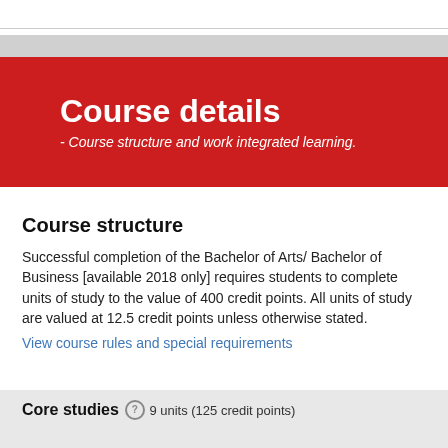Course details
- Course structure and work integrated learning.
Course structure
Successful completion of the Bachelor of Arts/ Bachelor of Business [available 2018 only] requires students to complete units of study to the value of 400 credit points. All units of study are valued at 12.5 credit points unless otherwise stated.
View course rules and special requirements
Core studies
9 units (125 credit points)